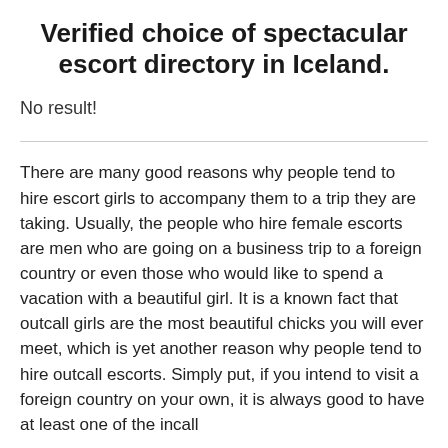Verified choice of spectacular escort directory in Iceland.
No result!
There are many good reasons why people tend to hire escort girls to accompany them to a trip they are taking. Usually, the people who hire female escorts are men who are going on a business trip to a foreign country or even those who would like to spend a vacation with a beautiful girl. It is a known fact that outcall girls are the most beautiful chicks you will ever meet, which is yet another reason why people tend to hire outcall escorts. Simply put, if you intend to visit a foreign country on your own, it is always good to have at least one of the incall